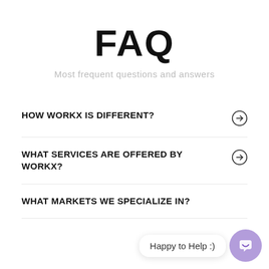FAQ
Most frequent questions and answers
HOW WORKX IS DIFFERENT?
WHAT SERVICES ARE OFFERED BY WORKX?
WHAT MARKETS WE SPECIALIZE IN?
Happy to Help :)